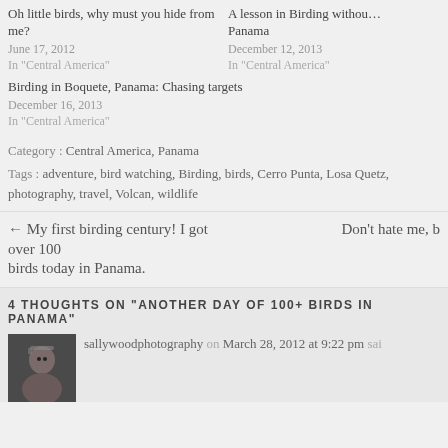Oh little birds, why must you hide from me?
June 17, 2012
In "Central America"
A lesson in Birding without Panama
December 12, 2013
In "Central America"
Birding in Boquete, Panama: Chasing targets
December 16, 2013
In "Central America"
Category : Central America, Panama
Tags : adventure, bird watching, Birding, birds, Cerro Punta, Losa Quetz, photography, travel, Volcan, wildlife
← My first birding century! I got over 100 birds today in Panama.
Don't hate me, b
4 THOUGHTS ON "ANOTHER DAY OF 100+ BIRDS IN PANAMA"
sallywoodphotography on March 28, 2012 at 9:22 pm said